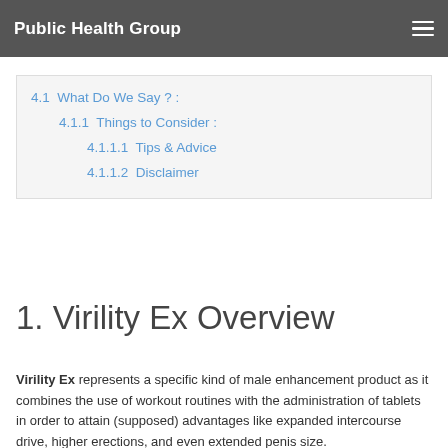Public Health Group
4.1  What Do We Say ? :
4.1.1  Things to Consider :
4.1.1.1  Tips & Advice
4.1.1.2  Disclaimer
1. Virility Ex Overview
Virility Ex represents a specific kind of male enhancement product as it combines the use of workout routines with the administration of tablets in order to attain (supposed) advantages like expanded intercourse drive, higher erections, and even extended penis size.
While all these claims sound like the perfect solution to all male sexual problems, Virility Ex does not seem to be supported in any way by clinical studies or individual testimonials.